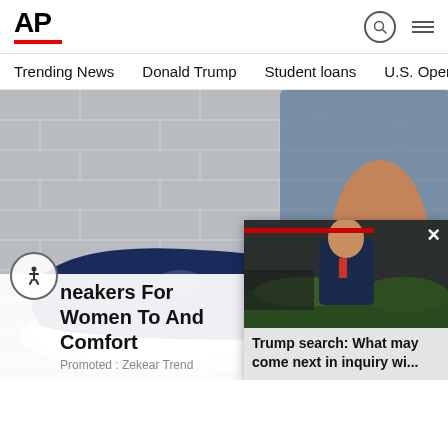AP
Trending News   Donald Trump   Student loans   U.S. Open Tenn
[Figure (photo): Close-up photo of women's navy blue slip-on sneakers with white soles against a grey brick wall background. A person wearing jeans with a gold chain anklet is visible.]
Sneakers For Women To And Comfort
Promoted : Zekear Trend
[Figure (screenshot): Video popup thumbnail showing Donald Trump in a suit with a red tie, overlaid with red progress bar and close button (×). Text below reads: Trump search: What may come next in inquiry wi...]